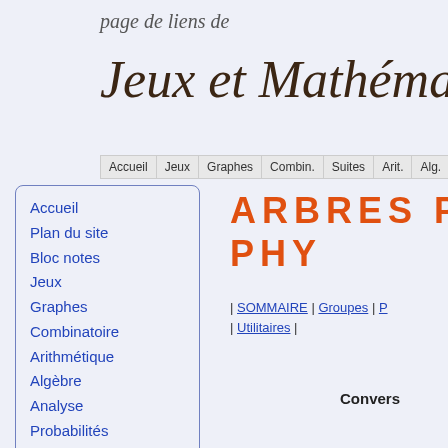page de liens de
Jeux et Mathéma
Accueil | Jeux | Graphes | Combin. | Suites | Arit. | Alg.
Accueil
Plan du site
Bloc notes
Jeux
Graphes
Combinatoire
Arithmétique
Algèbre
Analyse
Probabilités
Automates
Programmation
Divers
Liens
Home
ARBRES P
PHY
| SOMMAIRE | Groupes | P
| Utilitaires |
Convers